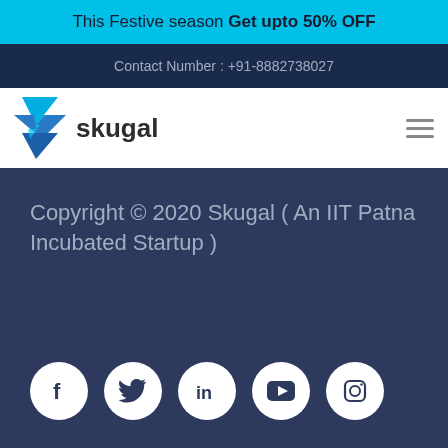This Festive season Get upto 50% OFF
Contact Number : +91-8882738027
[Figure (logo): Skugal logo with lightning bolt icon and text 'skugal']
[Figure (other): Hamburger menu icon (three horizontal lines)]
Copyright © 2020 Skugal ( An IIT Patna Incubated Startup )
[Figure (other): Social media icons: Facebook, Twitter, LinkedIn, YouTube, Instagram in white circles on dark blue background]